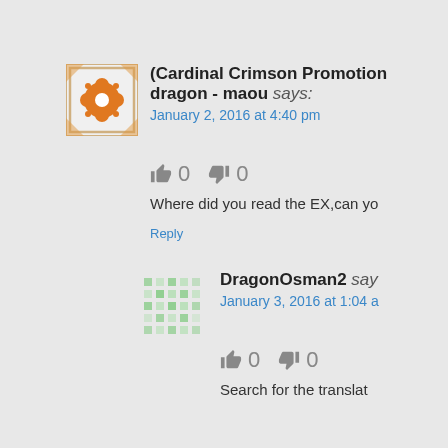Reply
(Cardinal Crimson Promotion dragon - maou says: January 2, 2016 at 4:40 pm
👍 0  👎 0
Where did you read the EX,can yo
Reply
DragonOsman2 say January 3, 2016 at 1:04 a
👍 0  👎 0
Search for the translat